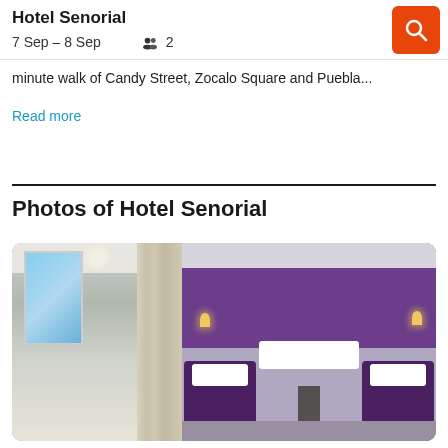Hotel Senorial
7 Sep – 8 Sep    2
minute walk of Candy Street, Zocalo Square and Puebla...
Read more
Photos of Hotel Senorial
[Figure (photo): Hotel room with curtains and window on left side, two beds with purple bedspreads and purple accent wall on right side]